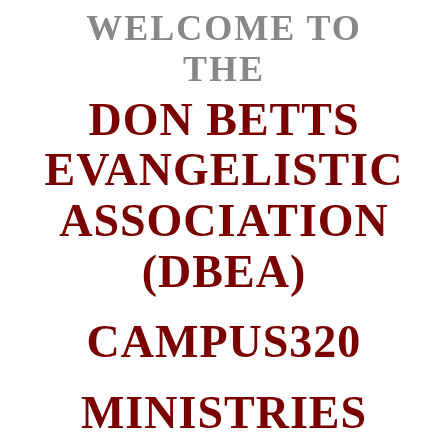WELCOME TO THE DON BETTS EVANGELISTIC ASSOCIATION (DBEA) CAMPUS320 MINISTRIES